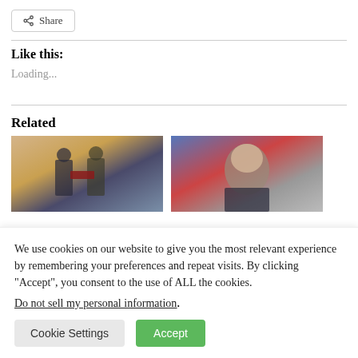Share
Like this:
Loading...
Related
[Figure (photo): Two men in suits exchanging documents in an ornate room]
[Figure (photo): Man in suit speaking, with blue and orange background]
We use cookies on our website to give you the most relevant experience by remembering your preferences and repeat visits. By clicking “Accept”, you consent to the use of ALL the cookies. Do not sell my personal information.